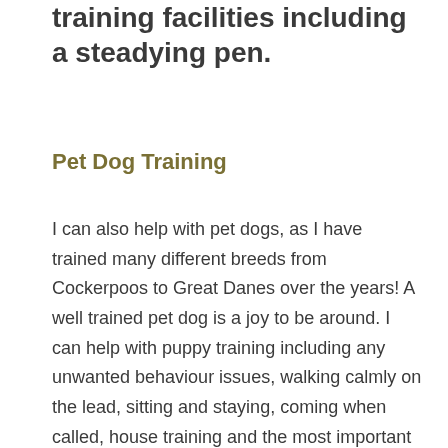training facilities including a steadying pen.
Pet Dog Training
I can also help with pet dogs, as I have trained many different breeds from Cockerpoos to Great Danes over the years! A well trained pet dog is a joy to be around. I can help with puppy training including any unwanted behaviour issues, walking calmly on the lead, sitting and staying, coming when called, house training and the most important of all socialisation with other dogs. A well balanced, trained dog is a happy dog which also means a happy owner.